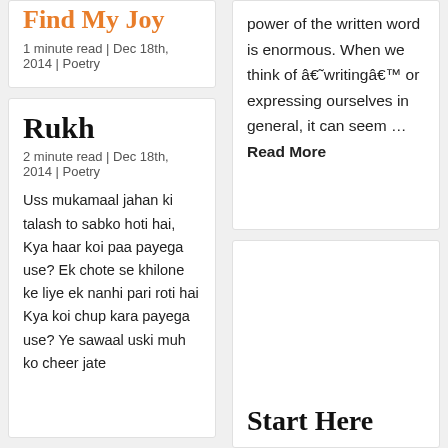Find My Joy
1 minute read | Dec 18th, 2014 | Poetry
Rukh
2 minute read | Dec 18th, 2014 | Poetry
Uss mukamaal jahan ki talash to sabko hoti hai, Kya haar koi paa payega use? Ek chote se khilone ke liye ek nanhi pari roti hai Kya koi chup kara payega use? Ye sawaal uski muh ko cheer jate
power of the written word is enormous. When we think of â€˜writingâ€™ or expressing ourselves in general, it can seem ... Read More
Start Here